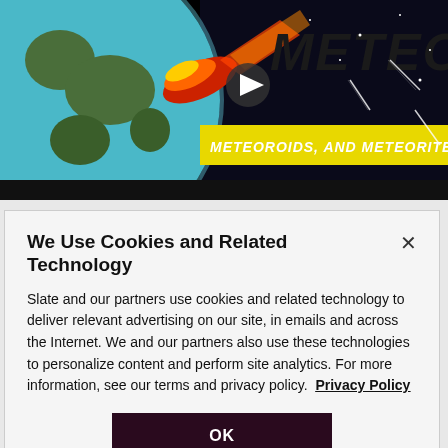[Figure (screenshot): Video thumbnail showing a meteor/space-themed illustration with Earth globe, a fiery meteor, yellow banner reading 'METEOROIDS, AND METEORITES, OH MY!' and large text 'METEORS' with a play button overlay. Dark starry sky background with shooting meteors.]
We Use Cookies and Related Technology
Slate and our partners use cookies and related technology to deliver relevant advertising on our site, in emails and across the Internet. We and our partners also use these technologies to personalize content and perform site analytics. For more information, see our terms and privacy policy.  Privacy Policy
OK